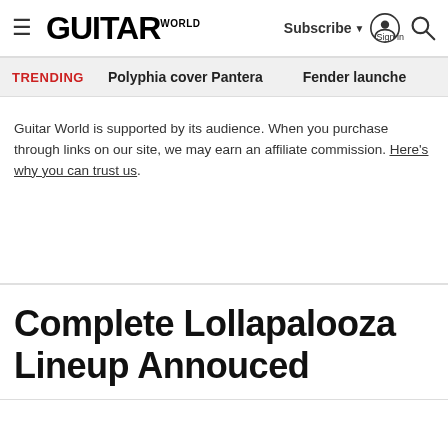GUITAR WORLD — Subscribe | Sign in | Search
TRENDING   Polyphia cover Pantera   Fender launche
Guitar World is supported by its audience. When you purchase through links on our site, we may earn an affiliate commission. Here's why you can trust us.
Complete Lollapalooza Lineup Annouced